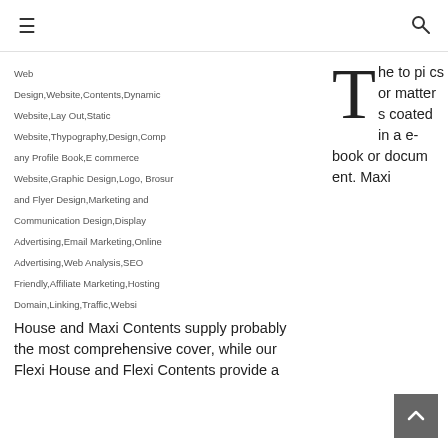☰  🔍
[Figure (other): Broken image placeholder labeled: Web Design,Website,Contents,Dynamic Website,Lay Out,Static Website,Thypography,Design,Company Profile Book,E commerce Website,Graphic Design,Logo, Brosur and Flyer Design,Marketing and Communication Design,Display Advertising,Email Marketing,Online Advertising,Web Analysis,SEO Friendly,Affiliate Marketing,Hosting Domain,Linking,Traffic,Websi]
The topics or matters coated in a e-book or document. Maxi House and Maxi Contents supply probably the most comprehensive cover, while our Flexi House and Flexi Contents provide a